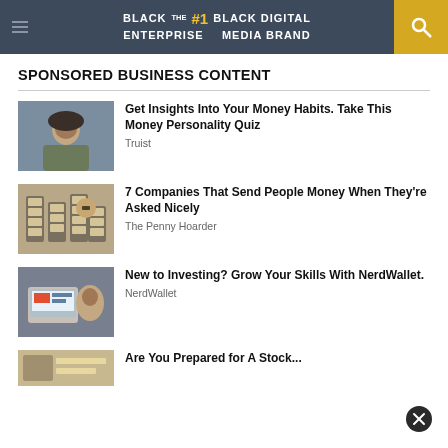BLACK ENTERPRISE — THE #1 BLACK DIGITAL MEDIA BRAND
SPONSORED BUSINESS CONTENT
[Figure (photo): Woman looking up outdoors, curly hair, green jacket]
Get Insights Into Your Money Habits. Take This Money Personality Quiz — Truist
[Figure (photo): Stacks of $100 bills with a hand reaching]
7 Companies That Send People Money When They're Asked Nicely — The Penny Hoarder
[Figure (photo): Person working at computer with investment screen visible]
New to Investing? Grow Your Skills With NerdWallet. — NerdWallet
[Figure (photo): Partial image of investment-themed content]
Are You Prepared for A Stock...